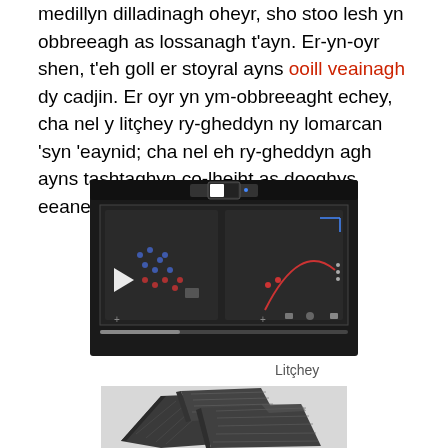medillyn dilladinagh oheyr, sho stoo lesh yn obbreeagh as lossanagh t'ayn. Er-yn-oyr shen, t'eh goll er stoyral ayns ooill veainagh dy cadjin. Er oyr yn ym-obbreeaght echey, cha nel y litçhey ry-gheddyn ny lomarcan 'syn 'eaynid; cha nel eh ry-gheddyn agh ayns tashtaghyn co-lheiht as dooghys eeaneagh lesh.
[Figure (screenshot): Video player screenshot showing a dark-themed interface with two panels, a play button on the left, various UI controls, and a progress bar at the bottom.]
Litçhey
[Figure (photo): Photograph of dark metallic or mineral chunks/slabs with layered, striated texture on a light grey background.]